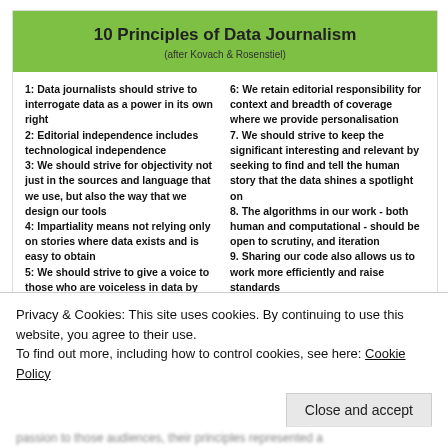10 Principles of Data Journalism
(after Kovach & Rosenstiel)
1: Data journalists should strive to interrogate data as a power in its own right
2: Editorial independence includes technological independence
3: We should strive for objectivity not just in the sources and language that we use, but also the way that we design our tools
4: Impartiality means not relying only on stories where data exists and is easy to obtain
5: We should strive to give a voice to those who are voiceless in data by seeking to create or open up data which would do so
6: We retain editorial responsibility for context and breadth of coverage where we provide personalisation
7. We should strive to keep the significant interesting and relevant by seeking to find and tell the human story that the data shines a spotlight on
8. The algorithms in our work - both human and computational - should be open to scrutiny, and iteration
9. Sharing our code also allows us to work more efficiently and raise standards
10. We should seek to empower citizens to exercise their rights and responsibilities
Privacy & Cookies: This site uses cookies. By continuing to use this website, you agree to their use.
To find out more, including how to control cookies, see here: Cookie Policy
Close and accept